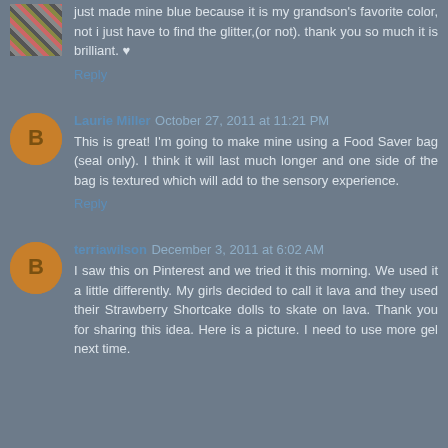just made mine blue because it is my grandson's favorite color, not i just have to find the glitter,(or not). thank you so much it is brilliant. ♥
Reply
Laurie Miller October 27, 2011 at 11:21 PM
This is great! I'm going to make mine using a Food Saver bag (seal only). I think it will last much longer and one side of the bag is textured which will add to the sensory experience.
Reply
terriawilson December 3, 2011 at 6:02 AM
I saw this on Pinterest and we tried it this morning. We used it a little differently. My girls decided to call it lava and they used their Strawberry Shortcake dolls to skate on lava. Thank you for sharing this idea. Here is a picture. I need to use more gel next time.